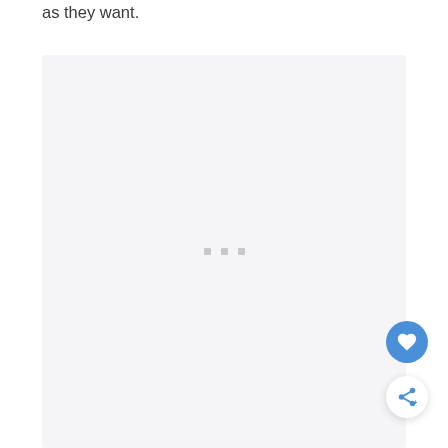as they want.
[Figure (other): Loading placeholder box with three small square dots centered, indicating content loading state]
[Figure (other): Blue circular heart/favorite FAB button]
[Figure (other): White circular share FAB button with share icon and plus symbol]